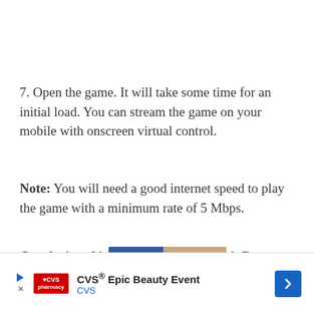7. Open the game. It will take some time for an initial load. You can stream the game on your mobile with onscreen virtual control.
Note: You will need a good internet speed to play the game with a minimum rate of 5 Mbps.
Conclusion: I hope the post was helpful. Do comment below for any assistance or support. Thank You.
[Figure (other): Advertisement banner: CVS Epic Beauty Event, CVS pharmacy logo, navigation arrow button]